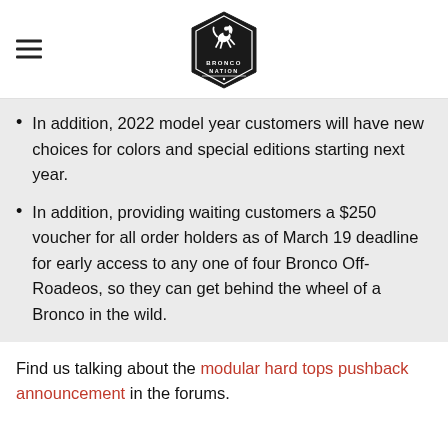Bronco Nation logo and hamburger menu
In addition, 2022 model year customers will have new choices for colors and special editions starting next year.
In addition, providing waiting customers a $250 voucher for all order holders as of March 19 deadline for early access to any one of four Bronco Off-Roadeos, so they can get behind the wheel of a Bronco in the wild.
Find us talking about the modular hard tops pushback announcement in the forums.